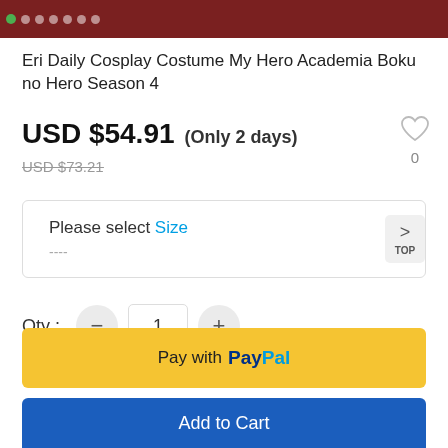[Figure (photo): Product image strip with image carousel dots at top of page showing a cosplay costume]
Eri Daily Cosplay Costume My Hero Academia Boku no Hero Season 4
USD $54.91  (Only 2 days)
USD $73.21 (strikethrough original price)
Please select Size
----
Qty :  1
Pay with PayPal
Add to Cart